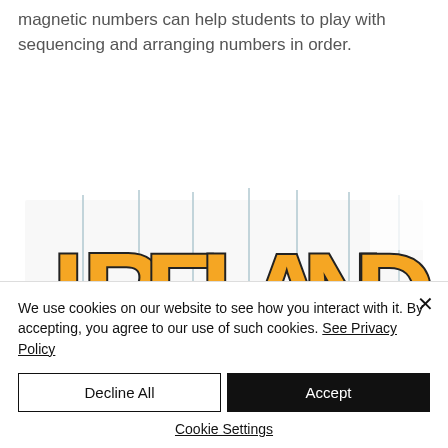magnetic numbers can help students to play with sequencing and arranging numbers in order.
[Figure (illustration): Colorful yellow and black bold letter tiles spelling 'IRELAND' arranged in a row on a white surface, partially obscured by vertical bars/lines.]
We use cookies on our website to see how you interact with it. By accepting, you agree to our use of such cookies. See Privacy Policy
Decline All
Accept
Cookie Settings